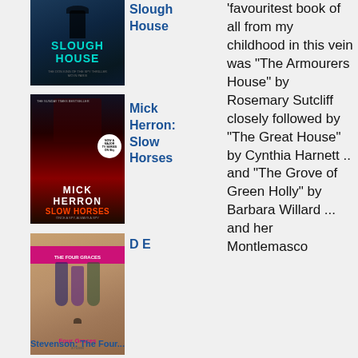[Figure (photo): Book cover of Slough House by Mick Herron - dark blue/teal cover with silhouette figure]
Slough House
[Figure (photo): Book cover of Slow Horses by Mick Herron - dark red/black cover with building and spy imagery]
Mick Herron: Slow Horses
[Figure (photo): Book cover of The Four Graces - vintage style with four women figures on tan/brown background]
D E
favouritest book of all from my childhood in this vein was "The Armourers House" by Rosemary Sutcliff closely followed by "The Great House" by Cynthia Harnett .. and "The Grove of Green Holly" by Barbara Willard ... and her Montlemasco